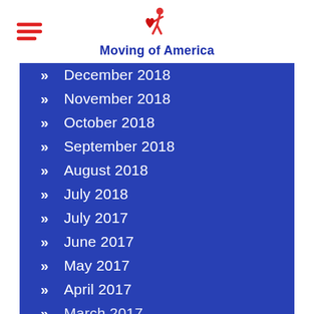Moving of America
December 2018
November 2018
October 2018
September 2018
August 2018
July 2018
July 2017
June 2017
May 2017
April 2017
March 2017